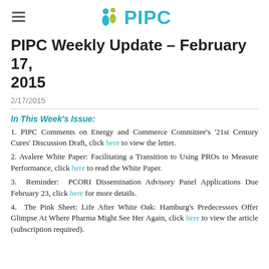PIPC
PIPC Weekly Update – February 17, 2015
2/17/2015
In This Week's Issue:
1. PIPC Comments on Energy and Commerce Committee's '21st Century Cures' Discussion Draft, click here to view the letter.
2. Avalere White Paper: Facilitating a Transition to Using PROs to Measure Performance, click here to read the White Paper.
3. Reminder: PCORI Dissemination Advisory Panel Applications Due February 23, click here for more details.
4. The Pink Sheet: Life After White Oak: Hamburg's Predecessors Offer Glimpse At Where Pharma Might See Her Again, click here to view the article (subscription required).